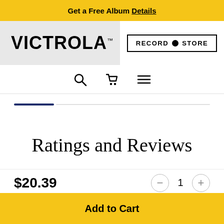Get a Free Album Details
[Figure (logo): Victrola brand logo in black bold uppercase text on light gray background]
[Figure (screenshot): RECORD STORE button with circular record icon, black border]
[Figure (infographic): Navigation icons: search (magnifying glass), shopping cart, hamburger menu]
Ratings and Reviews
$20.39
1
Add to Cart